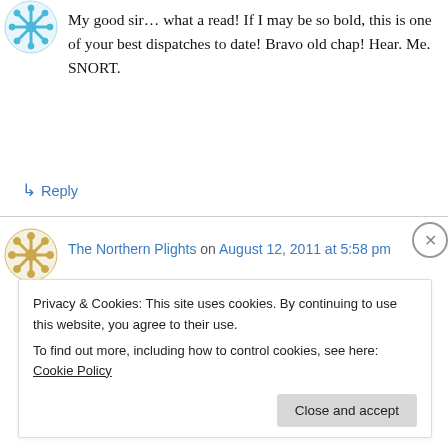[Figure (illustration): Blue decorative avatar/snowflake icon in top left]
My good sir… what a read! If I may be so bold, this is one of your best dispatches to date! Bravo old chap! Hear. Me. SNORT.
↳ Reply
[Figure (illustration): Gold snowflake/asterisk avatar icon]
The Northern Plights on August 12, 2011 at 5:58 pm
How awfully, awfully kind of you, my dear Lady Sav-age.
Privacy & Cookies: This site uses cookies. By continuing to use this website, you agree to their use.
To find out more, including how to control cookies, see here: Cookie Policy
Close and accept